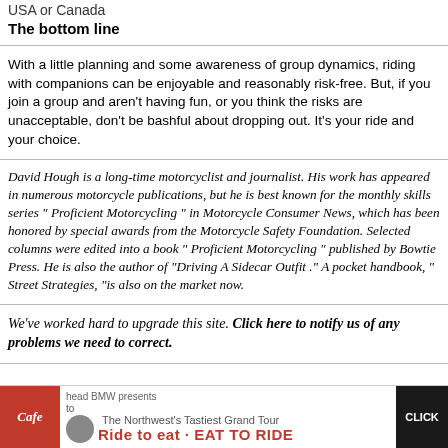USA or Canada
The bottom line
With a little planning and some awareness of group dynamics, riding with companions can be enjoyable and reasonably risk-free. But, if you join a group and aren't having fun, or you think the risks are unacceptable, don't be bashful about dropping out. It's your ride and your choice.
David Hough is a long-time motorcyclist and journalist. His work has appeared in numerous motorcycle publications, but he is best known for the monthly skills series " Proficient Motorcycling " in Motorcycle Consumer News, which has been honored by special awards from the Motorcycle Safety Foundation. Selected columns were edited into a book " Proficient Motorcycling " published by Bowtie Press. He is also the author of "Driving A Sidecar Outfit ." A pocket handbook, " Street Strategies, "is also on the market now.
We've worked hard to upgrade this site. Click here to notify us of any problems we need to correct.
[Figure (infographic): Banner advertisement for 'The Northwest's Tastiest Grand Tour' - Ride to Eat / Eat to Ride, with Cafe logo on red background on left and CLICK button on dark background on right.]